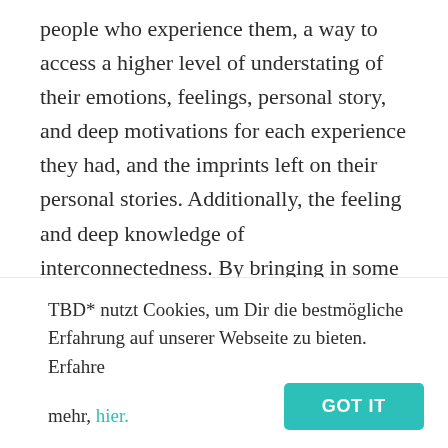people who experience them, a way to access a higher level of understating of their emotions, feelings, personal story, and deep motivations for each experience they had, and the imprints left on their personal stories. Additionally, the feeling and deep knowledge of interconnectedness. By bringing in some of the science behind, we will be looking specifically at cases where psychedelics help treat anxiety and how it contributes to those having a “change-the-world” job. Let´s start by defining
TBD* nutzt Cookies, um Dir die bestmögliche Erfahrung auf unserer Webseite zu bieten. Erfahre mehr, hier.